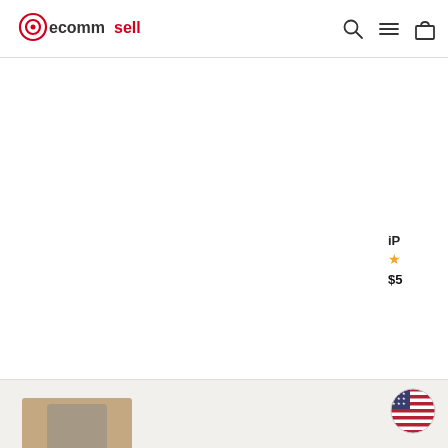ecommsell — navigation bar with search, menu, and cart icons
[Figure (screenshot): ecommsell e-commerce website screenshot showing logo, navigation icons, white product listing area, partial product card with title starting 'iP', star rating, and price starting '$5', and bottom section with partial US flag badge and product image thumbnail]
iP
★
$5